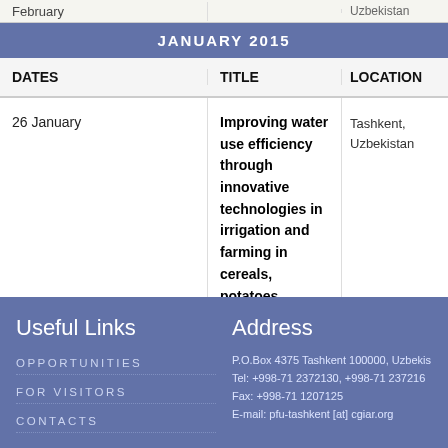| DATES | TITLE | LOCATION |
| --- | --- | --- |
| February |  | Uzbekistan |
| 26 January | Improving water use efficiency through innovative technologies in irrigation and farming in cereals, potatoes, vegetables, horticultural and fodder crops | Tashkent, Uzbekistan |
Useful Links
Opportunities
For Visitors
Contacts
Address
P.O.Box 4375 Tashkent 100000, Uzbekistan
Tel: +998-71 2372130, +998-71 2372160
Fax: +998-71 1207125
E-mail: pfu-tashkent [at] cgiar.org